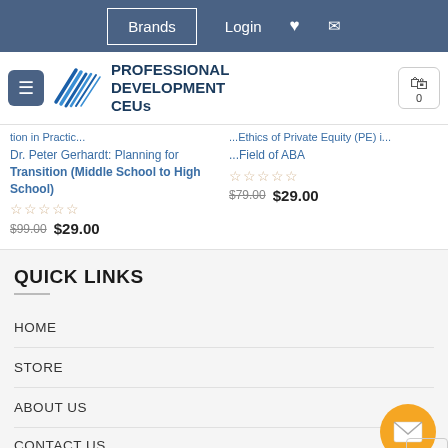Brands   Login   ♥   ✉
[Figure (logo): Professional Development CEUs logo with blue diagonal lines icon]
Dr. Peter Gerhardt: Planning for Transition (Middle School to High School)
☆☆☆☆☆  $99.00  $29.00
Ethics of Private Equity (PE) in Field of ABA
☆☆☆☆☆  $79.00  $29.00
QUICK LINKS
HOME
STORE
ABOUT US
CONTACT US